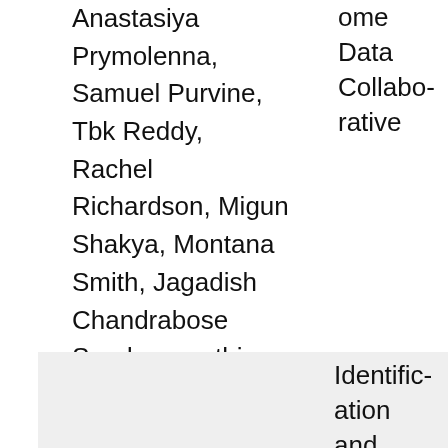Anastasiya Prymolenna, Samuel Purvine, Tbk Reddy, Rachel Richardson, Migun Shakya, Montana Smith, Jagadish Chandrabose Sundaramurthi, Mark A. Miller, Deepak Unni, Pajau Vangay, Bruce Wilson, Donald Winston, Elisha Wood-Charlson, Yan Xu, Emiley Eloe-Fadrosh and Christopher J. Mungall
ome Data Collaborative
Identification and ontolog